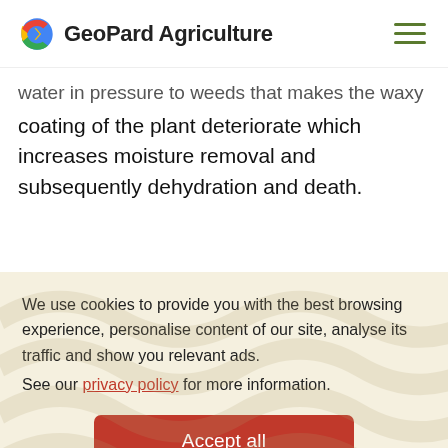GeoPard Agriculture
…water in pressure to weeds that makes the waxy coating of the plant deteriorate which increases moisture removal and subsequently dehydration and death.
We use cookies to provide you with the best browsing experience, personalise content of our site, analyse its traffic and show you relevant ads.
See our privacy policy for more information.
Accept all